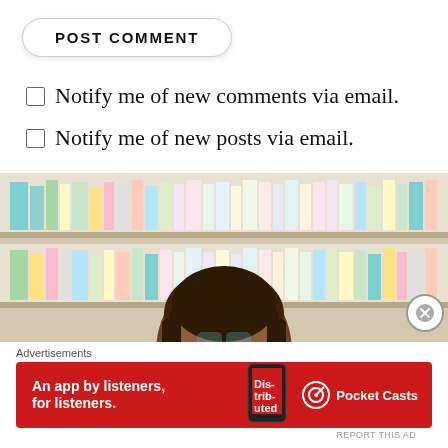POST COMMENT
Notify me of new comments via email.
Notify me of new posts via email.
[Figure (photo): A person with glasses and braided hair seen in front of a library bookshelf with many colorful books]
Advertisements
[Figure (infographic): Pocket Casts advertisement banner in red with text 'An app by listeners, for listeners.' and a phone showing the 'Distributed' podcast app]
REPORT THIS AD